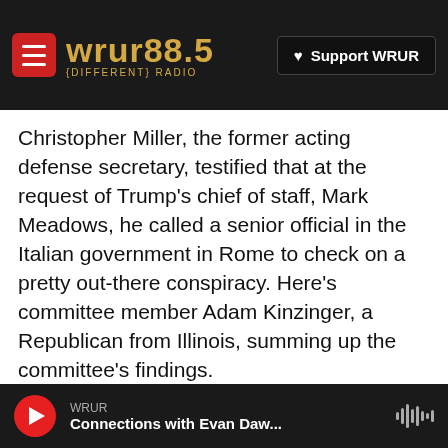WRUR 88.5 DIFFERENT RADIO | Support WRUR
Christopher Miller, the former acting defense secretary, testified that at the request of Trump's chief of staff, Mark Meadows, he called a senior official in the Italian government in Rome to check on a pretty out-there conspiracy. Here's committee member Adam Kinzinger, a Republican from Illinois, summing up the committee's findings.
(SOUNDBITE OF ARCHIVED RECORDING)
ADAM KINZINGER: The select committee confirmed that a call was actually placed by Secretary Miller to the attache in Italy to investigate
WRUR — Connections with Evan Daw...